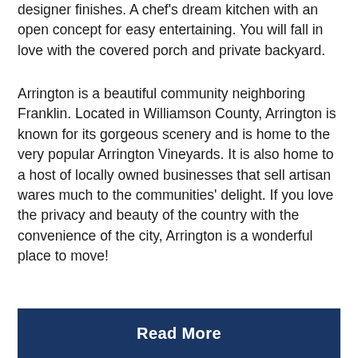designer finishes. A chef's dream kitchen with an open concept for easy entertaining. You will fall in love with the covered porch and private backyard.
Arrington is a beautiful community neighboring Franklin. Located in Williamson County, Arrington is known for its gorgeous scenery and is home to the very popular Arrington Vineyards. It is also home to a host of locally owned businesses that sell artisan wares much to the communities' delight. If you love the privacy and beauty of the country with the convenience of the city, Arrington is a wonderful place to move!
...
Read More